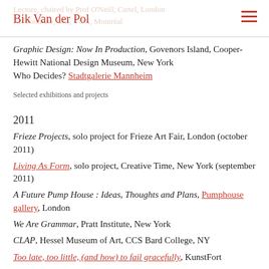Bik Van der Pol
Graphic Design: Now In Production, Govenors Island, Cooper-Hewitt National Design Museum, New York
Who Decides? Stadtgalerie Mannheim
Selected exhibitions and projects
2011
Frieze Projects, solo project for Frieze Art Fair, London (october 2011)
Living As Form, solo project, Creative Time, New York (september 2011)
A Future Pump House : Ideas, Thoughts and Plans, Pumphouse gallery, London
We Are Grammar, Pratt Institute, New York
CLAP, Hessel Museum of Art, CCS Bard College, NY
Too late, too little, (and how) to fail gracefully, KunstFort